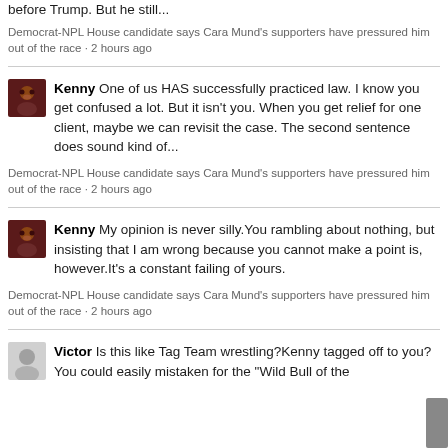before Trump. But he still...
Democrat-NPL House candidate says Cara Mund’s supporters have pressured him out of the race · 2 hours ago
Kenny One of us HAS successfully practiced law. I know you get confused a lot. But it isn't you. When you get relief for one client, maybe we can revisit the case. The second sentence does sound kind of...
Democrat-NPL House candidate says Cara Mund’s supporters have pressured him out of the race · 2 hours ago
Kenny My opinion is never silly.You rambling about nothing, but insisting that I am wrong because you cannot make a point is, however.It’s a constant failing of yours.
Democrat-NPL House candidate says Cara Mund’s supporters have pressured him out of the race · 2 hours ago
Victor Is this like Tag Team wrestling?Kenny tagged off to you?You could easily mistaken for the "Wild Bull of the